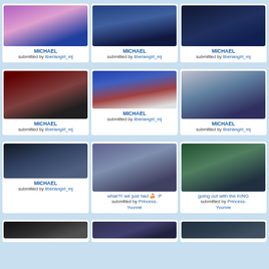[Figure (photo): Michael Jackson with others at event - row 1 col 1]
MICHAEL
submitted by liberiangirl_mj
[Figure (photo): Michael Jackson at event - row 1 col 2]
MICHAEL
submitted by liberiangirl_mj
[Figure (photo): Michael Jackson in dark setting - row 1 col 3]
MICHAEL
submitted by liberiangirl_mj
[Figure (photo): Michael Jackson in black outfit - row 2 col 1]
MICHAEL
submitted by liberiangirl_mj
[Figure (photo): Michael Jackson with Guinness record - row 2 col 2]
MICHAEL
submitted by liberiangirl_mj
[Figure (photo): Michael Jackson outside - row 2 col 3]
MICHAEL
submitted by liberiangirl_mj
[Figure (photo): Michael Jackson with papers - row 3 col 1]
MICHAEL
submitted by liberiangirl_mj
[Figure (photo): Michael Jackson with woman - row 3 col 2]
what?!! we just had 🍰 :P
submitted by Princess-Yvonne
[Figure (photo): Michael Jackson with others going out - row 3 col 3]
going out with the KING
submitted by Princess-Yvonne